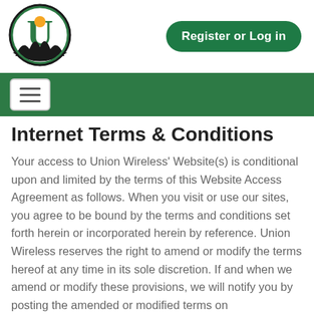[Figure (logo): Union Wireless circular logo with large green U, orange sun/moon icon, mountains, and black circle border]
[Figure (other): Green rounded rectangle button with white text: Register or Log in]
[Figure (other): Green navigation bar with white hamburger menu button (three horizontal lines)]
Internet Terms & Conditions
Your access to Union Wireless' Website(s) is conditional upon and limited by the terms of this Website Access Agreement as follows. When you visit or use our sites, you agree to be bound by the terms and conditions set forth herein or incorporated herein by reference. Union Wireless reserves the right to amend or modify the terms hereof at any time in its sole discretion. If and when we amend or modify these provisions, we will notify you by posting the amended or modified terms on